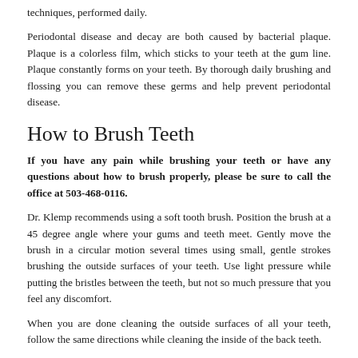techniques, performed daily.
Periodontal disease and decay are both caused by bacterial plaque. Plaque is a colorless film, which sticks to your teeth at the gum line. Plaque constantly forms on your teeth. By thorough daily brushing and flossing you can remove these germs and help prevent periodontal disease.
How to Brush Teeth
If you have any pain while brushing your teeth or have any questions about how to brush properly, please be sure to call the office at 503-468-0116.
Dr. Klemp recommends using a soft tooth brush. Position the brush at a 45 degree angle where your gums and teeth meet. Gently move the brush in a circular motion several times using small, gentle strokes brushing the outside surfaces of your teeth. Use light pressure while putting the bristles between the teeth, but not so much pressure that you feel any discomfort.
When you are done cleaning the outside surfaces of all your teeth, follow the same directions while cleaning the inside of the back teeth.
To clean the inside surfaces of the upper and lower front teeth, hold the brush vertically. Make several gentle back-and-forth strokes over